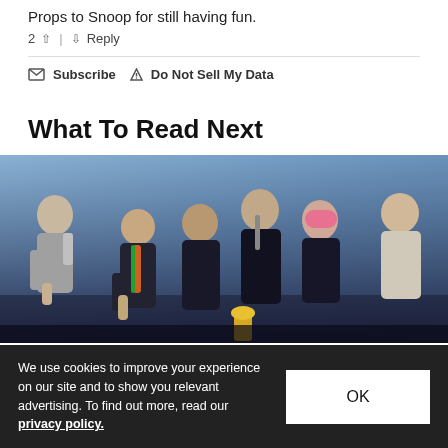Props to Snoop for still having fun.
2 ▲ | ▼ Reply
✉ Subscribe ▲ Do Not Sell My Data
What To Read Next
[Figure (photo): Group photo of seven people (K-pop group BTS) performing on stage, wearing formal and semi-formal attire. One has pink hair. Background is blue stage lighting.]
We use cookies to improve your experience on our site and to show you relevant advertising. To find out more, read our privacy policy.